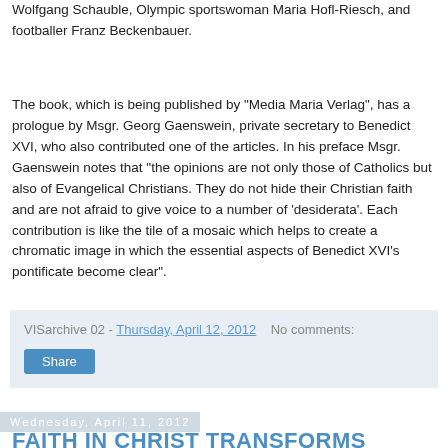Wolfgang Schauble, Olympic sportswoman Maria Hofl-Riesch, and footballer Franz Beckenbauer.
The book, which is being published by "Media Maria Verlag", has a prologue by Msgr. Georg Gaenswein, private secretary to Benedict XVI, who also contributed one of the articles. In his preface Msgr. Gaenswein notes that "the opinions are not only those of Catholics but also of Evangelical Christians. They do not hide their Christian faith and are not afraid to give voice to a number of 'desiderata'. Each contribution is like the tile of a mosaic which helps to create a chromatic image in which the essential aspects of Benedict XVI's pontificate become clear".
VISarchive 02 - Thursday, April 12, 2012   No comments:
Share
Wednesday, April 11, 2012
FAITH IN CHRIST TRANSFORMS